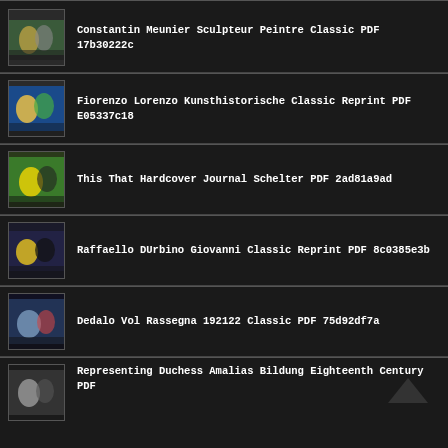Constantin Meunier Sculpteur Peintre Classic PDF 17b30222c
Fiorenzo Lorenzo Kunsthistorische Classic Reprint PDF E05337c18
This That Hardcover Journal Schelter PDF 2ad81a9ad
Raffaello DUrbino Giovanni Classic Reprint PDF 8c0385e3b
Dedalo Vol Rassegna 192122 Classic PDF 75d92df7a
Representing Duchess Amalias Bildung Eighteenth Century PDF